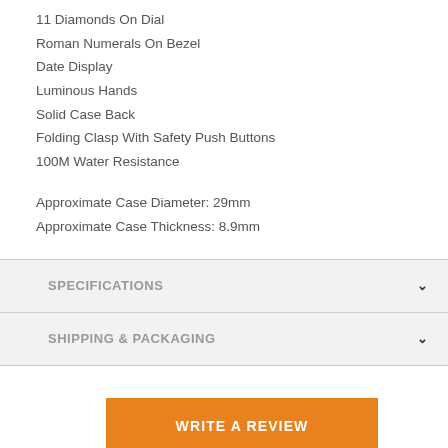11 Diamonds On Dial
Roman Numerals On Bezel
Date Display
Luminous Hands
Solid Case Back
Folding Clasp With Safety Push Buttons
100M Water Resistance
Approximate Case Diameter: 29mm
Approximate Case Thickness: 8.9mm
SPECIFICATIONS
SHIPPING & PACKAGING
WRITE A REVIEW